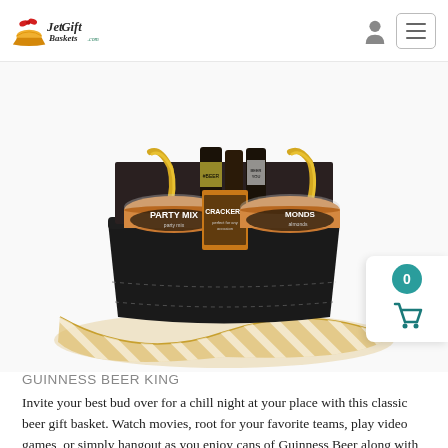JetGift Baskets
[Figure (photo): A black gift basket filled with Guinness beer cans, party mix snacks, crackers, and almonds, decorated with a gold and white striped ribbon, photographed from above on a white background.]
GUINNESS BEER KING
Invite your best bud over for a chill night at your place with this classic beer gift basket. Watch movies, root for your favorite teams, play video games, or simply hangout as you enjoy cans of Guinness Beer along with